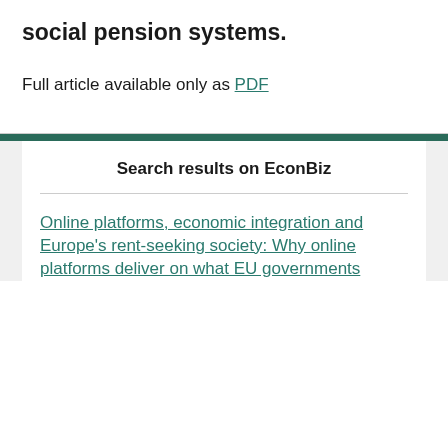social pension systems.
Full article available only as PDF
Search results on EconBiz
Online platforms, economic integration and Europe's rent-seeking society: Why online platforms deliver on what EU governments